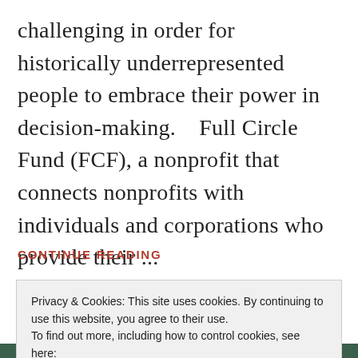challenging in order for historically underrepresented people to embrace their power in decision-making.    Full Circle Fund (FCF), a nonprofit that connects nonprofits with individuals and corporations who provide their ...
CONTINUE READING
Privacy & Cookies: This site uses cookies. By continuing to use this website, you agree to their use.
To find out more, including how to control cookies, see here:
Cookie Policy
Close and accept